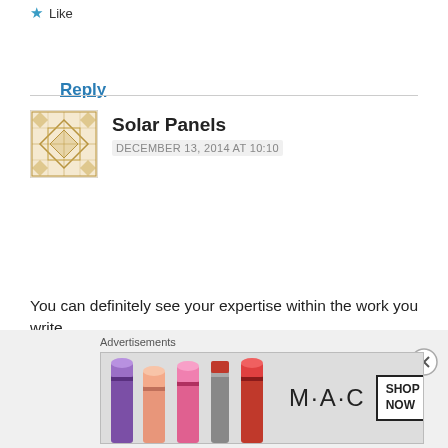★ Like
Reply
Solar Panels
DECEMBER 13, 2014 AT 10:10
You can definitely see your expertise within the work you write.
The arena hopes for more passionate writers like you who are not afraid to say how they believe.
At all times follow your heart.
★ Like
Advertisements
[Figure (photo): MAC cosmetics advertisement showing colorful lipsticks with MAC logo and SHOP NOW button]